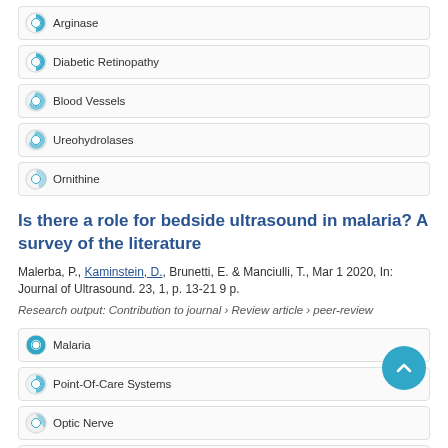Arginase
Diabetic Retinopathy
Blood Vessels
Ureohydrolases
Ornithine
Is there a role for bedside ultrasound in malaria? A survey of the literature
Malerba, P., Kaminstein, D., Brunetti, E. & Manciulli, T., Mar 1 2020, In: Journal of Ultrasound. 23, 1, p. 13-21 9 p.
Research output: Contribution to journal › Review article › peer-review
Malaria
Point-Of-Care Systems
Optic Nerve
Spleen
Ultrasonography
'Is your Smart Home a Secure Home?' - Analysis of